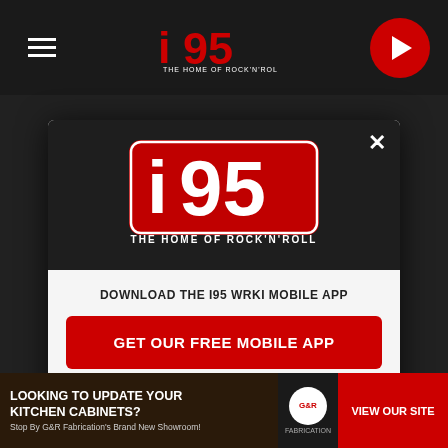[Figure (screenshot): i95 WRKI radio station website screenshot showing a modal popup. The page background is dark. A top navigation bar shows a hamburger menu, the i95 rock'n'roll logo, and a play button. The modal has a dark header section with the i95 logo (red, THE HOME OF ROCK'N'ROLL), a close X button, and a white lower section.]
DOWNLOAD THE I95 WRKI MOBILE APP
GET OUR FREE MOBILE APP
Also listen on: amazon alexa
LOOKING TO UPDATE YOUR KITCHEN CABINETS?
Stop By G&R Fabrication's Brand New Showroom!
G&R FABRICATION
VIEW OUR SITE